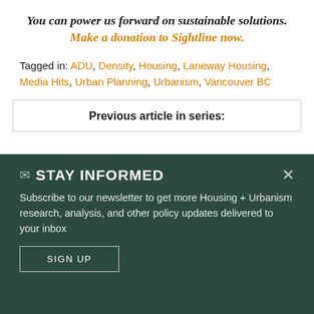You can power us forward on sustainable solutions. Make a donation to Sightline now.
Tagged in: ADU, Density, Housing, Laneway Housing, Media Hits, Urban Planning, Urbanism, Vancouver BC
Previous article in series:
✉ STAY INFORMED
Subscribe to our newsletter to get more Housing + Urbanism research, analysis, and other policy updates delivered to your inbox
SIGN UP